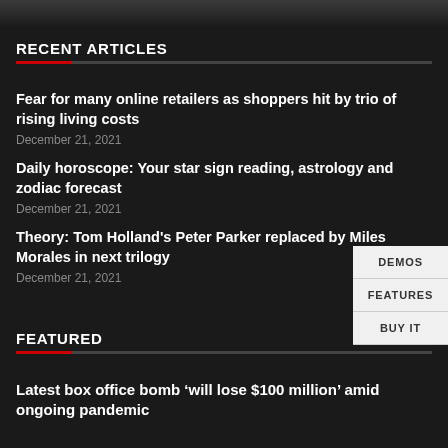[Figure (photo): Dark banner image at top of page]
RECENT ARTICLES
Fear for many online retailers as shoppers hit by trio of rising living costs
December 21, 2021
Daily horoscope: Your star sign reading, astrology and zodiac forecast
December 21, 2021
Theory: Tom Holland's Peter Parker replaced by Miles Morales in next trilogy
December 21, 2021
FEATURED
Latest box office bomb 'will lose $100 million' amid ongoing pandemic